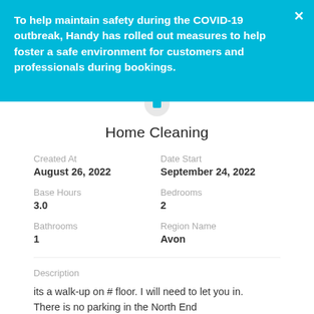To help maintain safety during the COVID-19 outbreak, Handy has rolled out measures to help foster a safe environment for customers and professionals during bookings.
Home Cleaning
Created At
August 26, 2022
Date Start
September 24, 2022
Base Hours
3.0
Bedrooms
2
Bathrooms
1
Region Name
Avon
Description
its a walk-up on # floor. I will need to let you in.
There is no parking in the North End